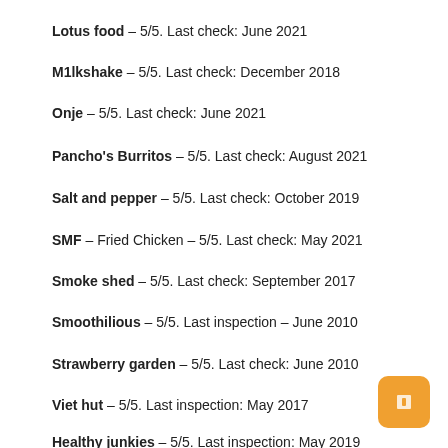Lotus food – 5/5. Last check: June 2021
M1lkshake – 5/5. Last check: December 2018
Onje – 5/5. Last check: June 2021
Pancho's Burritos – 5/5. Last check: August 2021
Salt and pepper – 5/5. Last check: October 2019
SMF – Fried Chicken – 5/5. Last check: May 2021
Smoke shed – 5/5. Last check: September 2017
Smoothilious – 5/5. Last inspection – June 2010
Strawberry garden – 5/5. Last check: June 2010
Viet hut – 5/5. Last inspection: May 2017
Healthy junkies – 5/5. Last inspection: May 2019